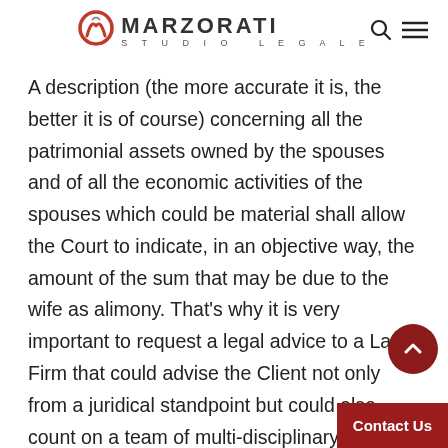MARZORATI STUDIO LEGALE
A description (the more accurate it is, the better it is of course) concerning all the patrimonial assets owned by the spouses and of all the economic activities of the spouses which could be material shall allow the Court to indicate, in an objective way, the amount of the sum that may be due to the wife as alimony. That's why it is very important to request a legal advice to a Law Firm that could advise the Client not only from a juridical standpoint but could also count on a team of multi-disciplinary professionals who work on various levels (also abroad if